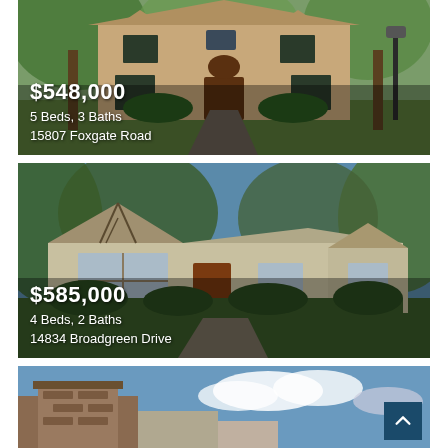[Figure (photo): Two-story brick house with large trees, stone pathway to dark wood front door, price overlay showing $548,000, 5 Beds 3 Baths, 15807 Foxgate Road]
[Figure (photo): Tudor-style ranch house with steep gabled roof, wood trim, large front windows, price overlay showing $585,000, 4 Beds 2 Baths, 14834 Broadgreen Drive]
[Figure (photo): Partial view of third property listing with blue sky and clouds, brick building visible, scroll-to-top button in lower right]